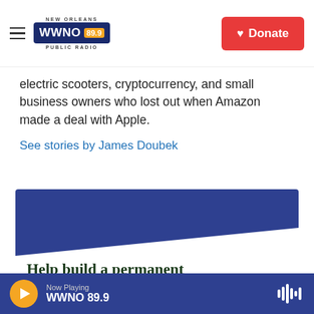NEW ORLEANS WWNO 89.9 PUBLIC RADIO | Donate
electric scooters, cryptocurrency, and small business owners who lost out when Amazon made a deal with Apple.
See stories by James Doubek
[Figure (illustration): Promotional banner with dark blue background and diagonal white section. Text reads: Help build a permanent funding source for]
Now Playing WWNO 89.9